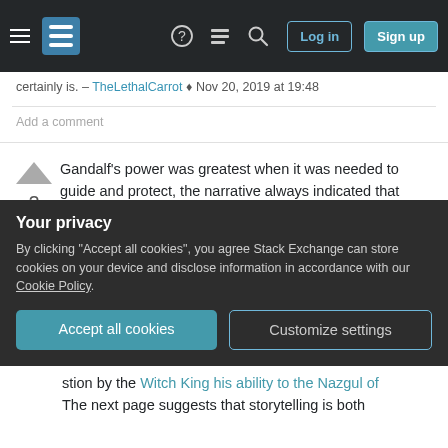Stack Exchange navigation bar with logo, question mark, chat, search icons, Log in and Sign up buttons
certainly is. – TheLethalCarrot ◆ Nov 20, 2019 at 19:48
Add a comment
Gandalf’s power was greatest when it was needed to guide and protect, the narrative always indicated that although his role is vital to the survival of the free peoples, his fate was never to overcome the dark adversary(s) himself. Not only that but, it’s stated very early on that the fate (and power) of the Nine is bound to Sauron, so it would follow that the
Your privacy
By clicking “Accept all cookies”, you agree Stack Exchange can store cookies on your device and disclose information in accordance with our Cookie Policy.
Accept all cookies
Customize settings